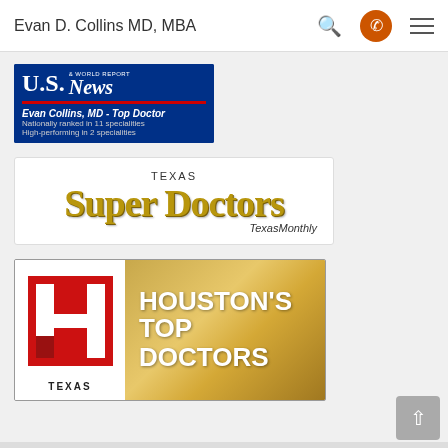Evan D. Collins MD, MBA
[Figure (logo): U.S. News & World Report badge: Evan Collins, MD - Top Doctor. Nationally ranked in 11 specialities. High-performing in 2 specialities.]
[Figure (logo): Texas Super Doctors - Texas Monthly logo badge]
[Figure (logo): Houston's Top Doctors - Texas H Magazine badge]